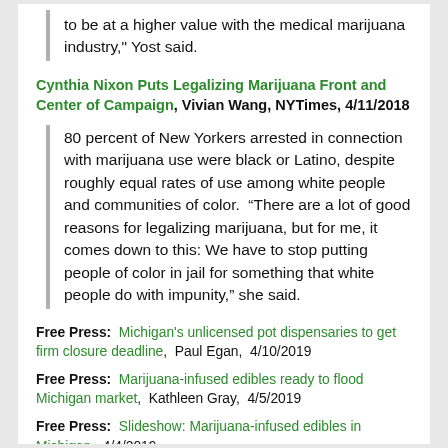to be at a higher value with the medical marijuana industry," Yost said.
Cynthia Nixon Puts Legalizing Marijuana Front and Center of Campaign, Vivian Wang, NYTimes, 4/11/2018
80 percent of New Yorkers arrested in connection with marijuana use were black or Latino, despite roughly equal rates of use among white people and communities of color.  “There are a lot of good reasons for legalizing marijuana, but for me, it comes down to this: We have to stop putting people of color in jail for something that white people do with impunity,” she said.
Free Press:  Michigan's unlicensed pot dispensaries to get firm closure deadline,  Paul Egan,  4/10/2019
Free Press:  Marijuana-infused edibles ready to flood Michigan market,  Kathleen Gray,  4/5/2019
Free Press:  Slideshow: Marijuana-infused edibles in Michigan,  4/4/2019
Free Press:  Why more than 400 Michigan communities are